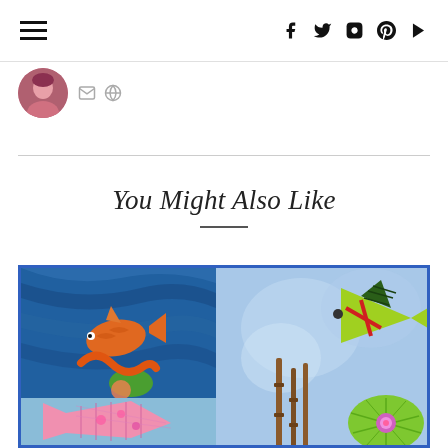Navigation and social icons header
[Figure (photo): Author avatar - circular cropped photo of a person with reddish/purple hair]
Email and link icons next to author avatar
You Might Also Like
[Figure (photo): Colorful children's art collage showing fish and underwater scenes painted/collaged on blue backgrounds with goldfish, green fish, pink fish, lily pads, and bamboo elements]